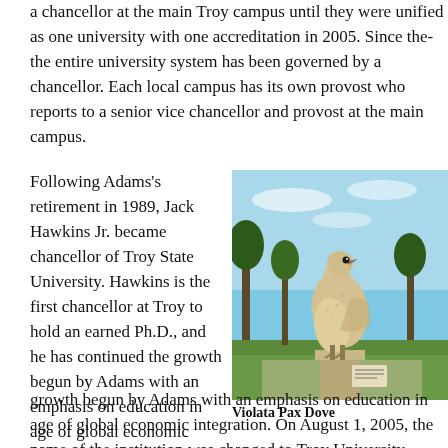a chancellor at the main Troy campus until they were unified as one university with one accreditation in 2005. Since then, the entire university system has been governed by a chancellor. Each local campus has its own provost who reports to a senior vice chancellor and provost at the main campus.
Following Adams's retirement in 1989, Jack Hawkins Jr. became chancellor of Troy State University. Hawkins is the first chancellor at Troy to hold an earned Ph.D., and he has continued the growth begun by Adams with an emphasis on education in the age of global economic integration. On August 1, 2005, the name of the institution was changed to Troy University,
[Figure (photo): Photograph of a large stone/concrete sculpture of a dove (Violata Pax Dove) on a pedestal outdoors on the Troy University campus, with trees and blue sky in the background.]
Violata Pax Dove